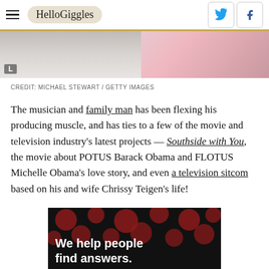HelloGiggles
[Figure (photo): Photo strip showing two people, partially cropped at top of page. Left side shows a person in white clothing; right side shows a person in colorful clothing.]
CREDIT: MICHAEL STEWART / GETTY IMAGES
The musician and family man has been flexing his producing muscle, and has ties to a few of the movie and television industry's latest projects — Southside with You, the movie about POTUS Barack Obama and FLOTUS Michelle Obama's love story, and even a television sitcom based on his and wife Chrissy Teigen's life!
[Figure (screenshot): Advertisement or media image with dark background, red polka dots, and white bold text reading 'We help people find answers.']